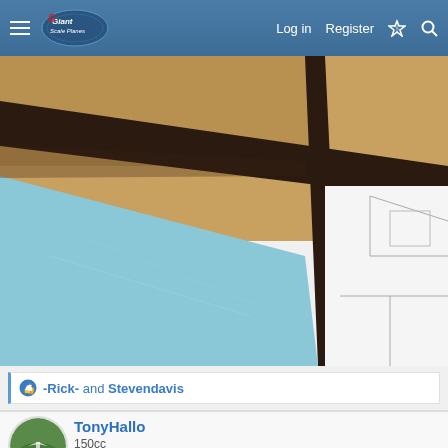Giant Scale Planes forum header with navigation: Log in, Register
[Figure (photo): Close-up photo of model aircraft construction showing wooden frame/structure with dark brown spars and light blue covering material, plus white areas showing framework outlines]
-Rick- and Stevendavis
TonyHallo
150cc